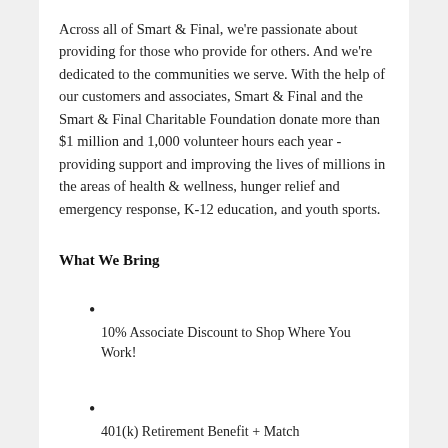Across all of Smart & Final, we're passionate about providing for those who provide for others. And we're dedicated to the communities we serve. With the help of our customers and associates, Smart & Final and the Smart & Final Charitable Foundation donate more than $1 million and 1,000 volunteer hours each year - providing support and improving the lives of millions in the areas of health & wellness, hunger relief and emergency response, K-12 education, and youth sports.
What We Bring
10% Associate Discount to Shop Where You Work!
401(k) Retirement Benefit + Match